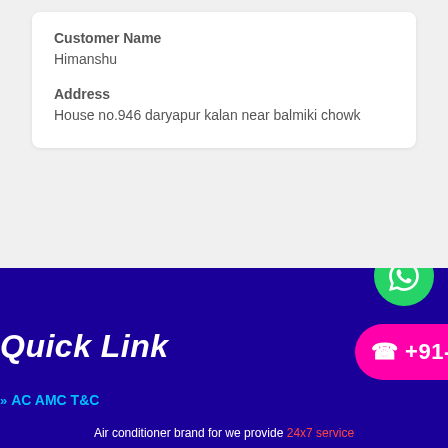Customer Name
Himanshu
Address
House no.946 daryapur kalan near balmiki chowk
Quick Link
AC AMC T&C
+91-8743050524
Air conditioner brand for we provide 24x7 service